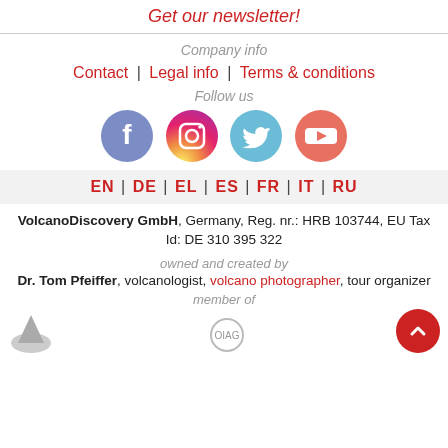Get our newsletter!
Company info
Contact | Legal info | Terms & conditions
Follow us
[Figure (illustration): Social media icons: Facebook, Instagram, Twitter, YouTube]
EN | DE | EL | ES | FR | IT | RU
VolcanoDiscovery GmbH, Germany, Reg. nr.: HRB 103744, EU Tax Id: DE 310 395 322
owned and created by
Dr. Tom Pfeiffer, volcanologist, volcano photographer, tour organizer
member of
[Figure (logo): Partial logos visible at bottom]